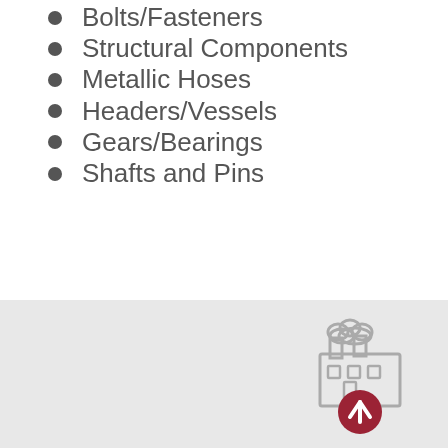Bolts/Fasteners
Structural Components
Metallic Hoses
Headers/Vessels
Gears/Bearings
Shafts and Pins
[Figure (illustration): Industrial factory/plant icon with smoke clouds above it, and a red circular up-arrow button overlapping the bottom of the icon]